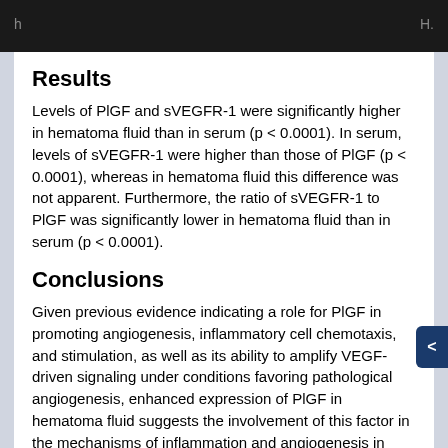h... H.
Results
Levels of PlGF and sVEGFR-1 were significantly higher in hematoma fluid than in serum (p < 0.0001). In serum, levels of sVEGFR-1 were higher than those of PlGF (p < 0.0001), whereas in hematoma fluid this difference was not apparent. Furthermore, the ratio of sVEGFR-1 to PlGF was significantly lower in hematoma fluid than in serum (p < 0.0001).
Conclusions
Given previous evidence indicating a role for PlGF in promoting angiogenesis, inflammatory cell chemotaxis, and stimulation, as well as its ability to amplify VEGF-driven signaling under conditions favoring pathological angiogenesis, enhanced expression of PlGF in hematoma fluid suggests the involvement of this factor in the mechanisms of inflammation and angiogenesis in CSDH. Furthermore, a reduced ratio of sVEGFR-1 to PlGF in